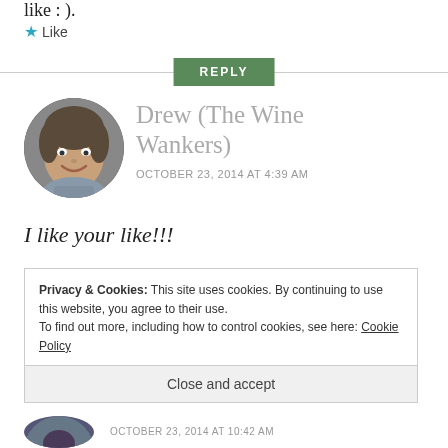like : ).
★ Like
REPLY
Drew (The Wine Wankers)
OCTOBER 23, 2014 AT 4:39 AM
I like your like!!!
Privacy & Cookies: This site uses cookies. By continuing to use this website, you agree to their use.
To find out more, including how to control cookies, see here: Cookie Policy
Close and accept